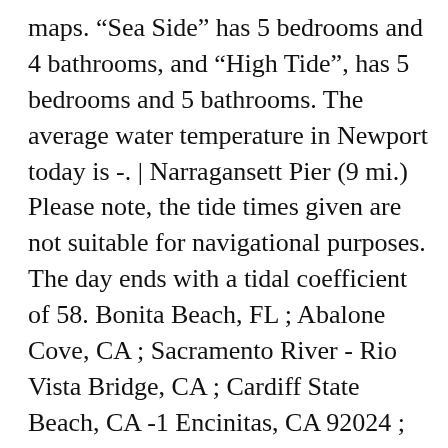maps. “Sea Side” has 5 bedrooms and 4 bathrooms, and “High Tide”, has 5 bedrooms and 5 bathrooms. The average water temperature in Newport today is -. | Narragansett Pier (9 mi.) Please note, the tide times given are not suitable for navigational purposes. The day ends with a tidal coefficient of 58. Bonita Beach, FL ; Abalone Cove, CA ; Sacramento River - Rio Vista Bridge, CA ; Cardiff State Beach, CA -1 Encinitas, CA 92024 ; San Francisco Bay - Treasure Island, CA ... Rhode Island ( US) time change. The times reflected in the tidal table for Newport are predictions valid as references for, © TIDES4FISHING | TIDE TABLE FOR NEWPORT |